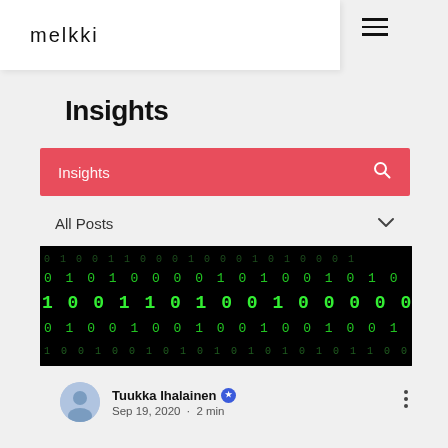melkki
Insights
Insights (search bar with search icon)
All Posts
[Figure (photo): Binary code image showing rows of green 0s and 1s on a black background]
Tuukka Ihalainen • Sep 19, 2020 • 2 min